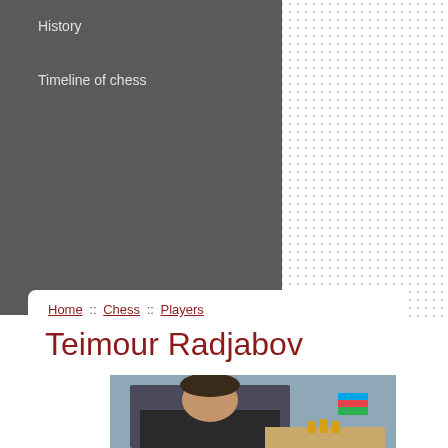History
Timeline of chess
Home :: Chess :: Players
Teimour Radjabov
[Figure (photo): Teimour Radjabov seated at a chess board, wearing a black and white striped shirt, with an Azerbaijan flag visible in the background]